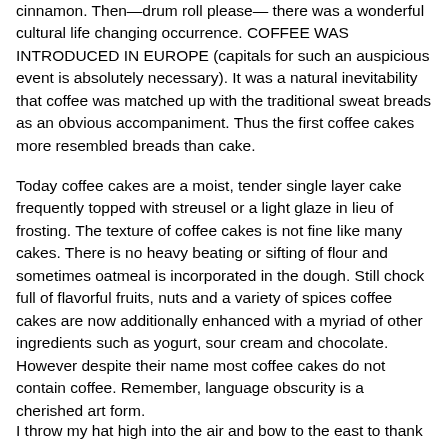cinnamon.  Then—drum roll please— there was a wonderful cultural life changing occurrence.  COFFEE WAS INTRODUCED IN EUROPE (capitals for such an auspicious event is absolutely necessary).   It was a natural inevitability that coffee was matched up with the traditional sweat breads as an obvious accompaniment.  Thus the first coffee cakes more resembled breads than cake.
Today coffee cakes are a moist, tender single layer cake frequently topped with streusel or a light glaze in lieu of frosting. The texture of coffee cakes is not fine like many cakes.  There is no heavy beating or sifting of flour and sometimes oatmeal is incorporated in the dough.  Still chock full of flavorful fruits, nuts and a variety of spices coffee cakes are now additionally enhanced with a myriad of other ingredients such as yogurt, sour cream and chocolate.  However despite their name most coffee cakes do not contain coffee.  Remember, language obscurity is a cherished art form.
I throw my hat high into the air and bow to the east to thank